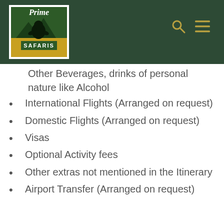[Figure (logo): Prime Safaris logo — green and gold logo with a gorilla silhouette against a yellow/orange sunrise background, text 'Prime' above 'SAFARIS']
Other Beverages, drinks of personal nature like Alcohol
International Flights (Arranged on request)
Domestic Flights (Arranged on request)
Visas
Optional Activity fees
Other extras not mentioned in the Itinerary
Airport Transfer (Arranged on request)